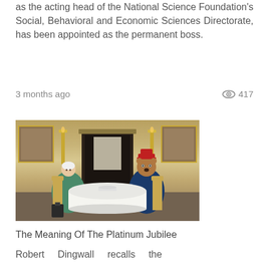as the acting head of the National Science Foundation's Social, Behavioral and Economic Sciences Directorate, has been appointed as the permanent boss.
3 months ago   👁 417
[Figure (photo): Photo of the Queen and Paddington Bear sitting at a table for tea in an ornate golden room]
The Meaning Of The Platinum Jubilee
Robert Dingwall recalls the observations of Edward Shils and the